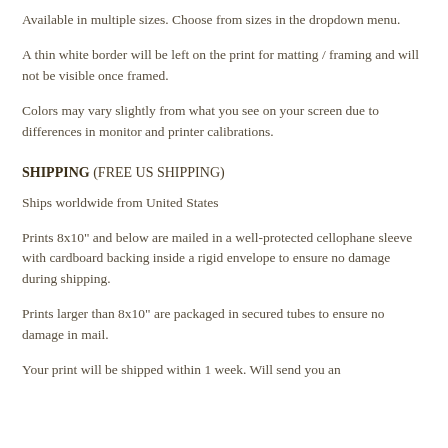Available in multiple sizes. Choose from sizes in the dropdown menu.
A thin white border will be left on the print for matting / framing and will not be visible once framed.
Colors may vary slightly from what you see on your screen due to differences in monitor and printer calibrations.
SHIPPING (FREE US SHIPPING)
Ships worldwide from United States
Prints 8x10" and below are mailed in a well-protected cellophane sleeve with cardboard backing inside a rigid envelope to ensure no damage during shipping.
Prints larger than 8x10" are packaged in secured tubes to ensure no damage in mail.
Your print will be shipped within 1 week. Will send you an